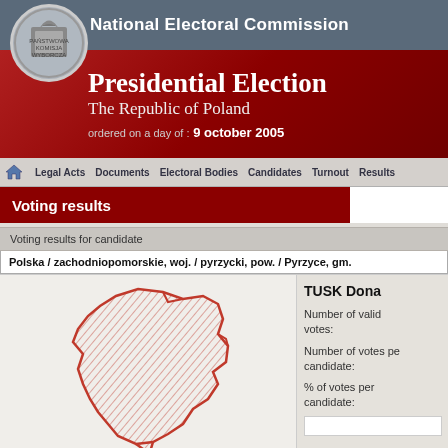National Electoral Commission
Presidential Election
The Republic of Poland
ordered on a day of: 9 october 2005
Legal Acts  Documents  Electoral Bodies  Candidates  Turnout  Results
Voting results
Voting results for candidate
Polska / zachodniopomorskie, woj. / pyrzycki, pow. / Pyrzyce, gm.
[Figure (map): Map outline of Pyrzyce gmina region, shown with red diagonal hatching pattern on white/light background, red border outline]
TUSK Dona
Number of valid votes:
Number of votes per candidate:
% of votes per candidate: